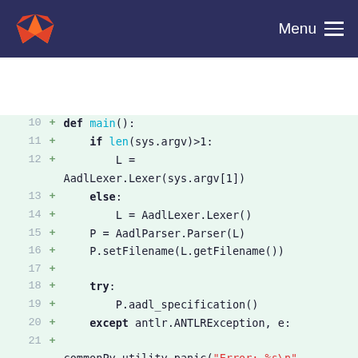GitLab — Menu
[Figure (screenshot): Code diff view showing Python source code lines 10-24 with additions marked by + signs on a light green background. Lines show Python code for a main() function including argument parsing, lexer/parser initialization, try/except block, and variable assignments.]